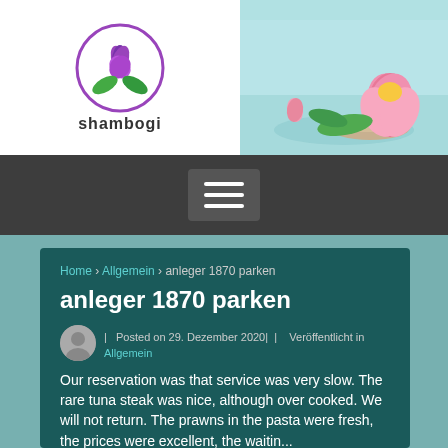[Figure (logo): Shambogi logo with purple lotus flower inside a circle, text 'shambogi' below]
[Figure (photo): Banner photo of pink lotus flowers floating on water in a bowl]
[Figure (other): Hamburger menu button (three horizontal lines) on dark gray navigation bar]
Home › Allgemein › anleger 1870 parken
anleger 1870 parken
Posted on 29. Dezember 2020| | Veröffentlicht in Allgemein
Our reservation was that service was very slow. The rare tuna steak was nice, although over cooked. We will not return. The prawns in the pasta were fresh, the prices were excellent, the waitin...